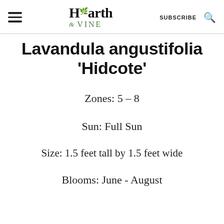Hearth & VINE — SUBSCRIBE
Lavandula angustifolia 'Hidcote'
Zones: 5 – 8
Sun: Full Sun
Size: 1.5 feet tall by 1.5 feet wide
Blooms: June - August